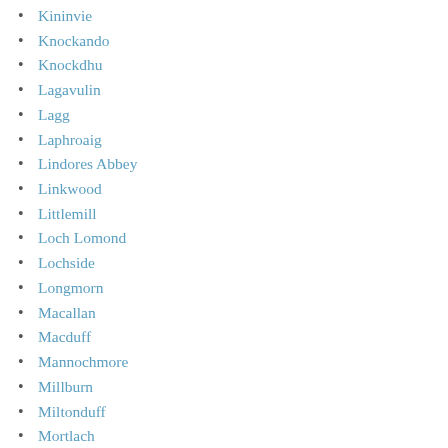Kininvie
Knockando
Knockdhu
Lagavulin
Lagg
Laphroaig
Lindores Abbey
Linkwood
Littlemill
Loch Lomond
Lochside
Longmorn
Macallan
Macduff
Mannochmore
Millburn
Miltonduff
Mortlach
Nc'nean
Oban
Pittyvaich
Port Ellen
Pulteney
Raasay
Rosebank
Royal Brackla
Royal Lochnagar